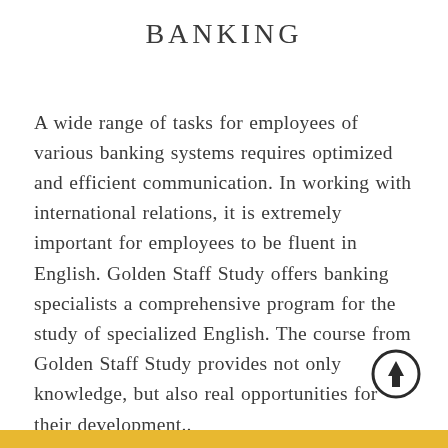BANKING
A wide range of tasks for employees of various banking systems requires optimized and efficient communication. In working with international relations, it is extremely important for employees to be fluent in English. Golden Staff Study offers banking specialists a comprehensive program for the study of specialized English. The course from Golden Staff Study provides not only knowledge, but also real opportunities for their development..
[Figure (illustration): Circular up-arrow icon in black outline style]
[Figure (other): Gold/yellow horizontal bar at bottom of page]